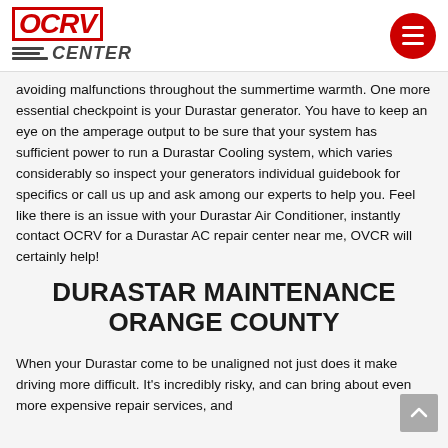OCRV CENTER logo and menu button
avoiding malfunctions throughout the summertime warmth. One more essential checkpoint is your Durastar generator. You have to keep an eye on the amperage output to be sure that your system has sufficient power to run a Durastar Cooling system, which varies considerably so inspect your generators individual guidebook for specifics or call us up and ask among our experts to help you. Feel like there is an issue with your Durastar Air Conditioner, instantly contact OCRV for a Durastar AC repair center near me, OVCR will certainly help!
DURASTAR MAINTENANCE ORANGE COUNTY
When your Durastar come to be unaligned not just does it make driving more difficult. It's incredibly risky, and can bring about even more expensive repair services, and